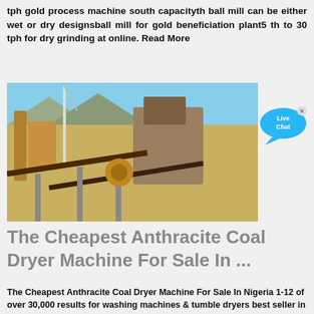tph gold process machine south capacityth ball mill can be either wet or dry designsball mill for gold beneficiation plant5 th to 30 tph for dry grinding at online. Read More
[Figure (photo): Industrial mining or crushing plant machinery with conveyors and processing equipment on a dirt site with mountain backdrop]
[Figure (other): Live Chat button/widget in blue speech bubble shape]
The Cheapest Anthracite Coal Dryer Machine For Sale In ...
The Cheapest Anthracite Coal Dryer Machine For Sale In Nigeria 1-12 of over 30,000 results for washing machines & tumble dryers best seller in washing machines book